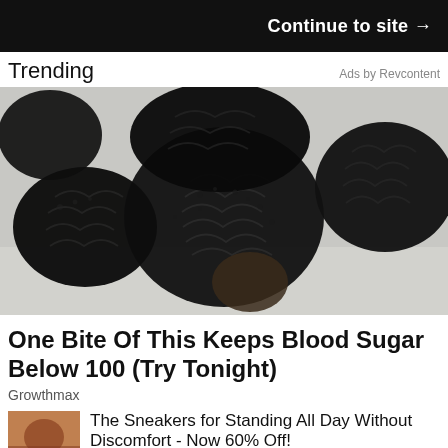Continue to site →
Trending
Ads by Revcontent
[Figure (photo): Close-up photo of several dark black dried berries or seeds on a light background, textured and rough-surfaced.]
One Bite Of This Keeps Blood Sugar Below 100 (Try Tonight)
Growthmax
The Sneakers for Standing All Day Without Discomfort - Now 60% Off!